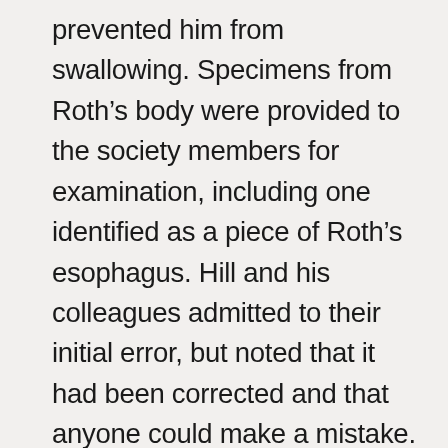prevented him from swallowing. Specimens from Roth's body were provided to the society members for examination, including one identified as a piece of Roth's esophagus. Hill and his colleagues admitted to their initial error, but noted that it had been corrected and that anyone could make a mistake. They then demonstrated this to the society as Dr. Worrell announced to those gathered that the esophagus sample that they had unquestioningly accepted as human was in fact a vena cava, or large vein attached